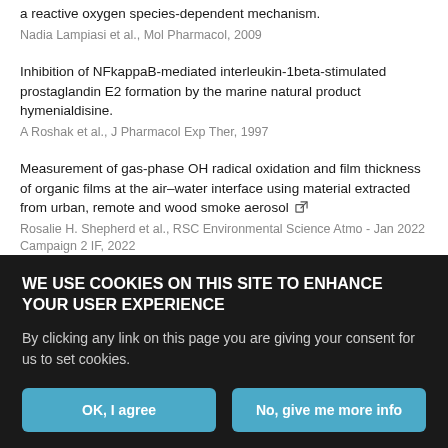a reactive oxygen species-dependent mechanism.
Nadia Lampiasi et al., Mol Pharmacol, 2009
Inhibition of NFkappaB-mediated interleukin-1beta-stimulated prostaglandin E2 formation by the marine natural product hymenialdisine.
A Roshak et al., J Pharmacol Exp Ther, 1997
Measurement of gas-phase OH radical oxidation and film thickness of organic films at the air–water interface using material extracted from urban, remote and wood smoke aerosol
Rosalie H. Shepherd et al., RSC Environmental Science Atmo - Jan 2022 Campaign 2 IF, 2022
Regulation of Interleukin-6 Promoter Activation in Gastric Epithelial Cells Infected with Helicobacter pylori
Hong Lu, Molecular Biology of the Cell, 2005
WE USE COOKIES ON THIS SITE TO ENHANCE YOUR USER EXPERIENCE
By clicking any link on this page you are giving your consent for us to set cookies.